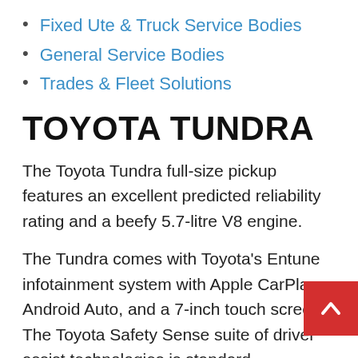Fixed Ute & Truck Service Bodies
General Service Bodies
Trades & Fleet Solutions
TOYOTA TUNDRA
The Toyota Tundra full-size pickup features an excellent predicted reliability rating and a beefy 5.7-litre V8 engine.
The Tundra comes with Toyota's Entune infotainment system with Apple CarPlay, Android Auto, and a 7-inch touch screen. The Toyota Safety Sense suite of driver assist technologies is standard.